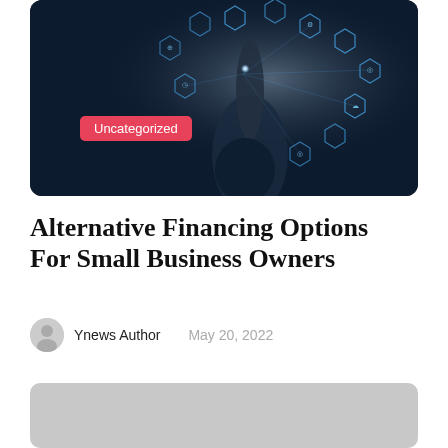[Figure (photo): A person's finger touching glowing digital technology icons and hexagonal UI elements on a dark blue background, representing digital innovation and technology.]
Alternative Financing Options For Small Business Owners
Ynews Author   May 20, 2022
[Figure (other): Gray placeholder advertisement or image block]